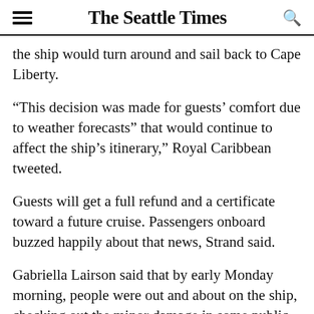The Seattle Times
the ship would turn around and sail back to Cape Liberty.
“This decision was made for guests’ comfort due to weather forecasts” that would continue to affect the ship’s itinerary,” Royal Caribbean tweeted.
Guests will get a full refund and a certificate toward a future cruise. Passengers onboard buzzed happily about that news, Strand said.
Gabriella Lairson said that by early Monday morning, people were out and about on the ship, checking out the minor damage in some public areas.
Lairson praised the crew and captain. “They did